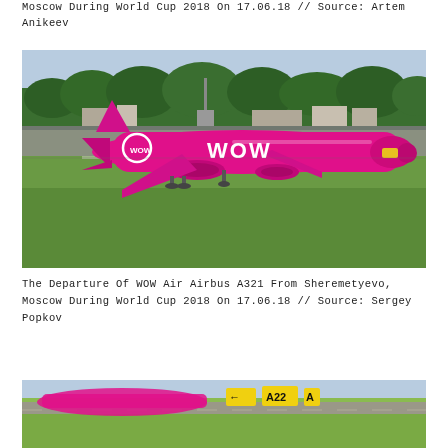Moscow During World Cup 2018 On 17.06.18 // Source: Artem Anikeev
[Figure (photo): WOW Air Airbus A321 in bright magenta/pink livery with large WOW lettering on the fuselage, taxiing on runway at Sheremetyevo airport Moscow, green trees and airport buildings in background, sunny day.]
The Departure Of WOW Air Airbus A321 From Sheremetyevo, Moscow During World Cup 2018 On 17.06.18 // Source: Sergey Popkov
[Figure (photo): Partial bottom photo showing airport taxiway with yellow signage markers including A22 sign and arrow, green grass, partial view of aircraft.]